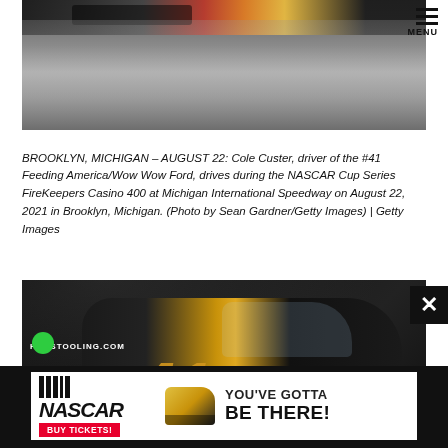[Figure (photo): Top portion of a NASCAR race car on track at Michigan International Speedway, partial view cropped at top]
BROOKLYN, MICHIGAN – AUGUST 22: Cole Custer, driver of the #41 Feeding America/Wow Wow Ford, drives during the NASCAR Cup Series FireKeepers Casino 400 at Michigan International Speedway on August 22, 2021 in Brooklyn, Michigan. (Photo by Sean Gardner/Getty Images) | Getty Images
[Figure (photo): NASCAR #41 Cole Custer Haas Tooling black car with gold number 41 livery at night race, close-up of front and side of car]
[Figure (infographic): NASCAR advertisement banner: NASCAR logo with BUY TICKETS button, racing car image, text YOU'VE GOTTA BE THERE!]